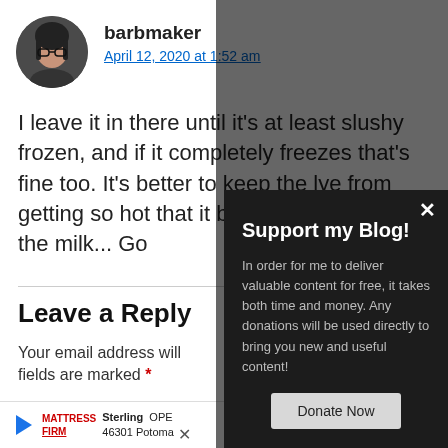[Figure (photo): Round avatar photo of a woman with dark hair and glasses]
barbmaker
April 12, 2020 at 1:52 am
I leave it in there until it's at least slushy frozen, and if it completely freezes that's fine too. It's better to keep the lye from getting so hot that it burns the sugars in the milk... Go
Leave a Reply
Your email address will not be published. Required fields are marked *
Name
[Figure (screenshot): Dark popup modal with title 'Support my Blog!' and body text about donations, plus a Donate Now button]
Support my Blog!
In order for me to deliver valuable content for free, it takes both time and money. Any donations will be used directly to bring you new and useful content!
Donate Now